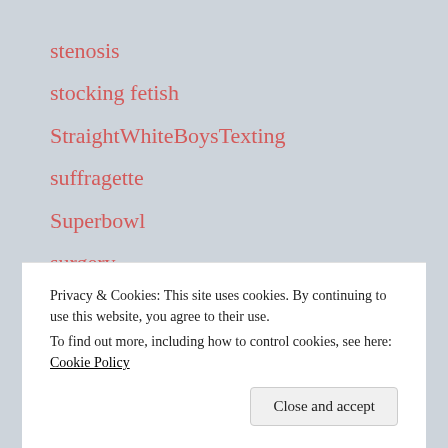stenosis
stocking fetish
StraightWhiteBoysTexting
suffragette
Superbowl
surgery
tall men
Targeted Medical Pharma
Privacy & Cookies: This site uses cookies. By continuing to use this website, you agree to their use.
To find out more, including how to control cookies, see here: Cookie Policy